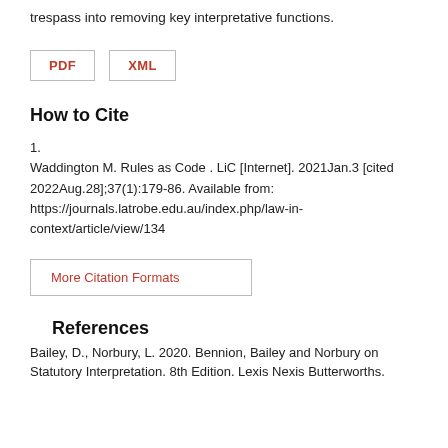trespass into removing key interpretative functions.
[Figure (other): PDF and XML download buttons]
How to Cite
1.
Waddington M. Rules as Code . LiC [Internet]. 2021Jan.3 [cited 2022Aug.28];37(1):179-86. Available from: https://journals.latrobe.edu.au/index.php/law-in-context/article/view/134
More Citation Formats
References
Bailey, D., Norbury, L. 2020. Bennion, Bailey and Norbury on Statutory Interpretation. 8th Edition. Lexis Nexis Butterworths.